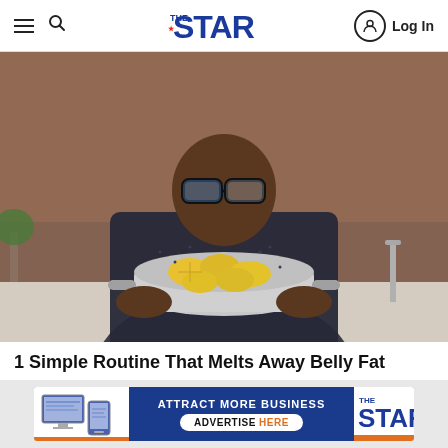The Star — Log In
[Figure (photo): Man holding a pot filled with lemon slices in a kitchen setting, wearing glasses and a dark patterned shirt]
1 Simple Routine That Melts Away Belly Fat
Randy Jackson: This completely transformed my health
Health Gut Boost | Sponsored
[Figure (infographic): Advertisement banner: ATTRACT MORE BUSINESS — ADVERTISE HERE — The Star logo]